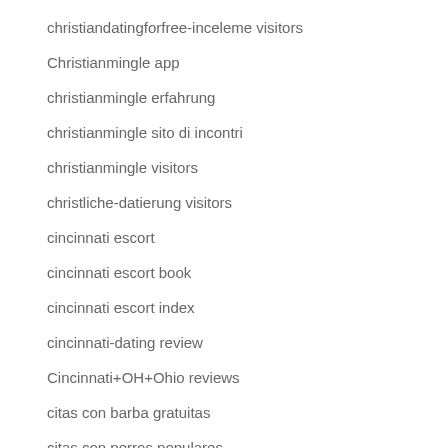christiandatingforfree-inceleme visitors
Christianmingle app
christianmingle erfahrung
christianmingle sito di incontri
christianmingle visitors
christliche-datierung visitors
cincinnati escort
cincinnati escort book
cincinnati escort index
cincinnati-dating review
Cincinnati+OH+Ohio reviews
citas con barba gratuitas
citas con perros populares
citas mayores de 60 populares
citas poliamorosas gratuitas